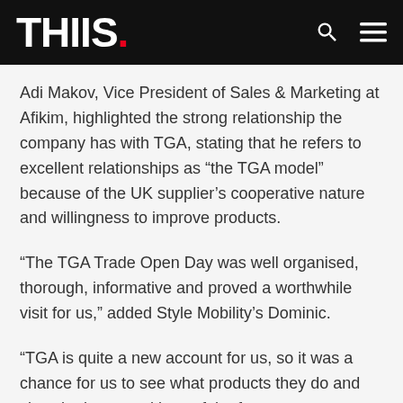THIIS.
Adi Makov, Vice President of Sales & Marketing at Afikim, highlighted the strong relationship the company has with TGA, stating that he refers to excellent relationships as “the TGA model” because of the UK supplier’s cooperative nature and willingness to improve products.
“The TGA Trade Open Day was well organised, thorough, informative and proved a worthwhile visit for us,” added Style Mobility’s Dominic.
“TGA is quite a new account for us, so it was a chance for us to see what products they do and view the inner workings of the factory.
“I’d like to say a big thank you to TGA for putting the event together with such a thoroughly consistent attitude towards…